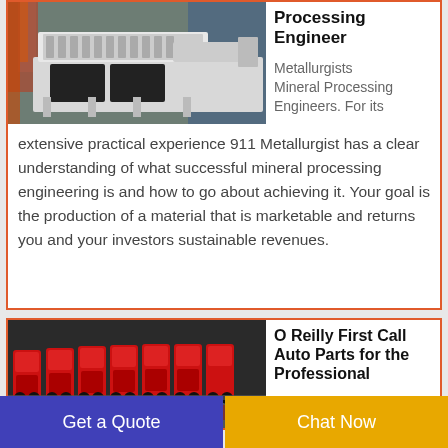[Figure (photo): Industrial mineral processing machine, white colored, in a warehouse with orange structure in background]
Processing Engineer
Metallurgists Mineral Processing Engineers. For its extensive practical experience 911 Metallurgist has a clear understanding of what successful mineral processing engineering is and how to go about achieving it. Your goal is the production of a material that is marketable and returns you and your investors sustainable revenues.
[Figure (photo): Row of red and black agricultural or industrial machinery seats/planters lined up]
O Reilly First Call Auto Parts for the Professional